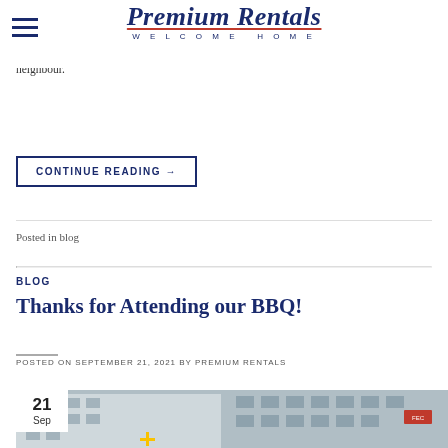Premium Rentals — Welcome Home (logo/nav)
At Premium Rentals, we want to work our hardest to make sure that every has the best possible experience at our properties. However, as one responsibility for having a great experience at an apartment that falls upon the people living there and that is being a great neighbour.
CONTINUE READING →
Posted in blog
BLOG
Thanks for Attending our BBQ!
POSTED ON SEPTEMBER 21, 2021 BY PREMIUM RENTALS
[Figure (photo): Photograph of apartment buildings exterior with a date badge showing 21 Sep in the lower left corner]